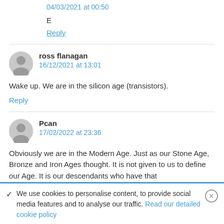04/03/2021 at 00:50
E
Reply
ross flanagan
16/12/2021 at 13:01
Wake up. We are in the silicon age (transistors).
Reply
Pcan
17/02/2022 at 23:36
Obviously we are in the Modern Age. Just as our Stone Age, Bronze and Iron Ages thought. It is not given to us to define our Age. It is our descendants who have that
✓  We use cookies to personalise content, to provide social media features and to analyse our traffic. Read our detailed cookie policy